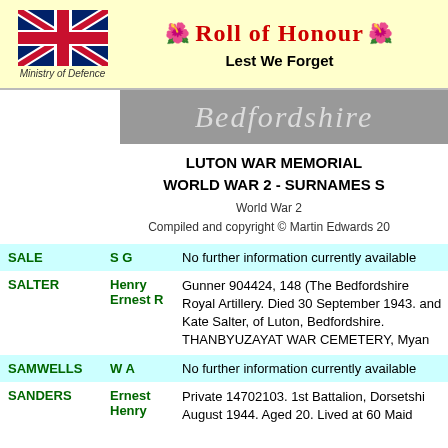[Figure (logo): UK Union Jack flag with 'Ministry of Defence' caption below, alongside Roll of Honour title with poppy icons]
🌹 Roll of Honour 🌹
Lest We Forget
[Figure (illustration): Grey banner with 'Bedfordshire' text in decorative italic font]
LUTON WAR MEMORIAL
WORLD WAR 2 - SURNAMES S
World War 2
Compiled and copyright © Martin Edwards 20
| Surname | Name | Details |
| --- | --- | --- |
| SALE | S G | No further information currently available |
| SALTER | Henry Ernest R | Gunner 904424, 148 (The Bedfordshire Royal Artillery. Died 30 September 1943. and Kate Salter, of Luton, Bedfordshire. THANBYUZAYAT WAR CEMETERY, Myan |
| SAMWELLS | W A | No further information currently available |
| SANDERS | Ernest Henry | Private 14702103. 1st Battalion, Dorsetshi August 1944. Aged 20. Lived at 60 Maid |